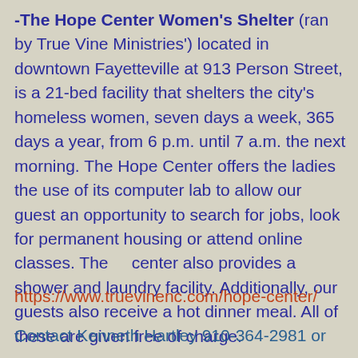-The Hope Center Women's Shelter (ran by True Vine Ministries') located in downtown Fayetteville at 913 Person Street, is a 21-bed facility that shelters the city's homeless women, seven days a week, 365 days a year, from 6 p.m. until 7 a.m. the next morning. The Hope Center offers the ladies the use of its computer lab to allow our guest an opportunity to search for jobs, look for permanent housing or attend online classes. The    center also provides a shower and laundry facility. Additionally, our guests also receive a hot dinner meal. All of these are given free of charge.
https://www.truevinenc.com/hope-center/
Contact Kenneth Hartley 910-364-2981 or